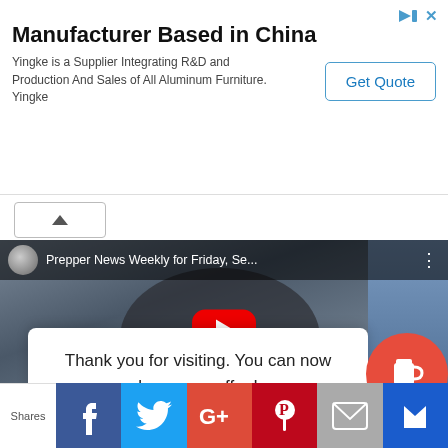[Figure (screenshot): Advertisement banner for Yingke aluminum furniture manufacturer based in China, with a 'Get Quote' button]
Manufacturer Based in China
Yingke is a Supplier Integrating R&D and Production And Sales of All Aluminum Furniture. Yingke
[Figure (screenshot): YouTube video embed showing 'Prepper News Weekly for Friday, Se...' with a man's face visible and a red play button overlay]
Thank you for visiting. You can now buy us a coffee!
Shares | Facebook | Twitter | Google+ | Pinterest | Email | Crown